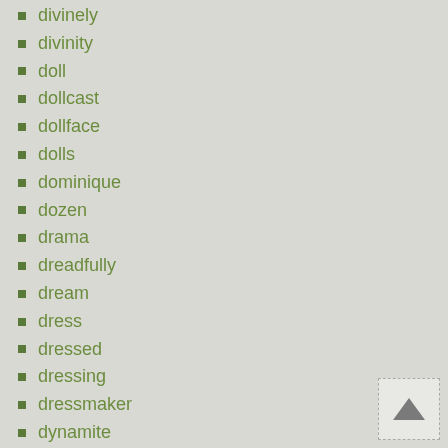divinely
divinity
doll
dollcast
dollface
dolls
dominique
dozen
drama
dreadfully
dream
dress
dressed
dressing
dressmaker
dynamite
east
eden
edra